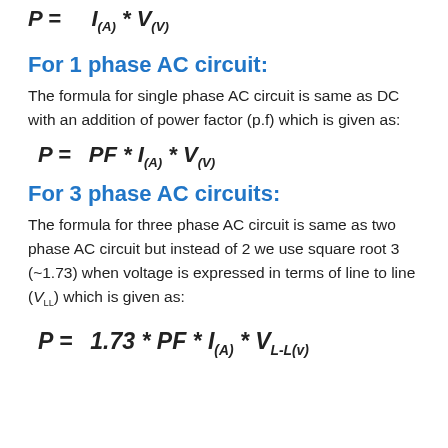For 1 phase AC circuit:
The formula for single phase AC circuit is same as DC with an addition of power factor (p.f) which is given as:
For 3 phase AC circuits:
The formula for three phase AC circuit is same as two phase AC circuit but instead of 2 we use square root 3 (~1.73) when voltage is expressed in terms of line to line (V_{LL}) which is given as: